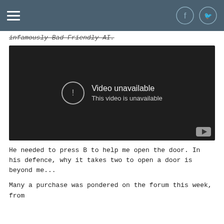infamously Bad Friendly AI.
[Figure (screenshot): Embedded video player showing 'Video unavailable - This video is unavailable' message on a dark background with a YouTube play button icon in the bottom right corner.]
He needed to press B to help me open the door. In his defence, why it takes two to open a door is beyond me...
Many a purchase was pondered on the forum this week, from